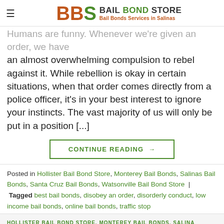BBS BAIL BOND STORE - Bail Bonds Services in Salinas
Humans are funny. Whenever we're given an order, we have an almost overwhelming compulsion to rebel against it. While rebellion is okay in certain situations, when that order comes directly from a police officer, it's in your best interest to ignore your instincts. The vast majority of us will only be put in a position [...]
CONTINUE READING →
Posted in Hollister Bail Bond Store, Monterey Bail Bonds, Salinas Bail Bonds, Santa Cruz Bail Bonds, Watsonville Bail Bond Store | Tagged best bail bonds, disobey an order, disorderly conduct, low income bail bonds, online bail bonds, traffic stop
HOLLISTER BAIL BOND STORE, MONTEREY BAIL BONDS, SALINAS BONDS, SANTA CRUZ BAIL BONDS, WATSONVILLE BAIL BOND S
Driving With Young Kids? Does California...